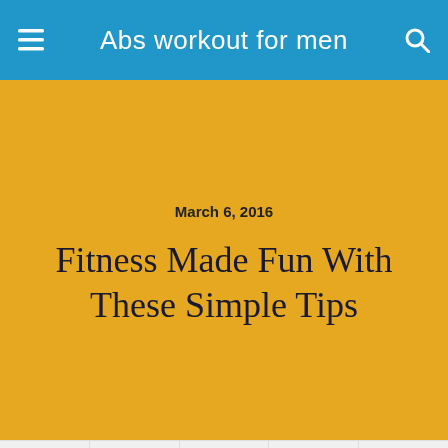Abs workout for men
March 6, 2016
Fitness Made Fun With These Simple Tips
Share  Tweet  Pin  Mail  SMS